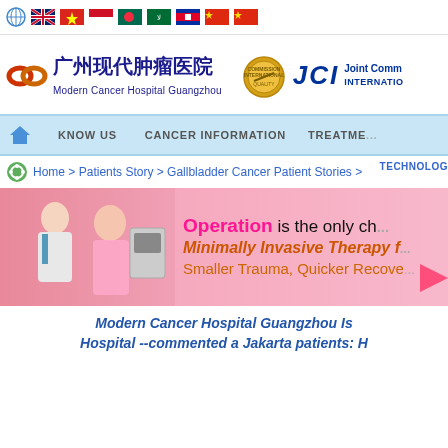Navigation flags bar with globe icon and country flags
[Figure (logo): Modern Cancer Hospital Guangzhou logo with Chinese characters 广州现代肿瘤医院 and JCI Joint Commission International accreditation seal]
KNOW US   CANCER INFORMATION   TREATME...
TECHNOLOG... Home > Patients Story > Gallbladder Cancer Patient Stories >
[Figure (photo): Medical banner showing a doctor examining a patient with text: Operation is the only ch... Minimally Invasive Therapy f... Smaller Trauma, Quicker Recove...]
Modern Cancer Hospital Guangzhou Is Hospital --commented a Jakarta patients: H